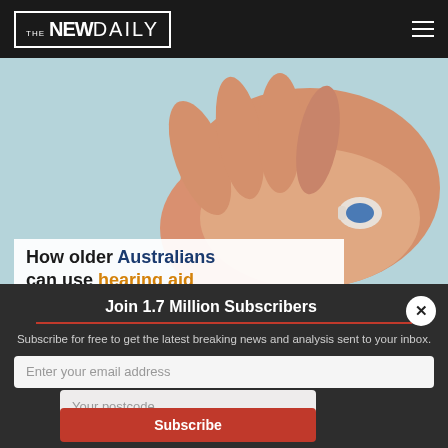THE NEWDAILY
[Figure (photo): Hand holding a hearing aid device against a light blue background. Advertisement for hearing aid subsidies for older Australians.]
How older Australians can use hearing aid subsidies
Live News
Join 1.7 Million Subscribers
Subscribe for free to get the latest breaking news and analysis sent to your inbox.
Enter your email address
Your postcode
Subscribe